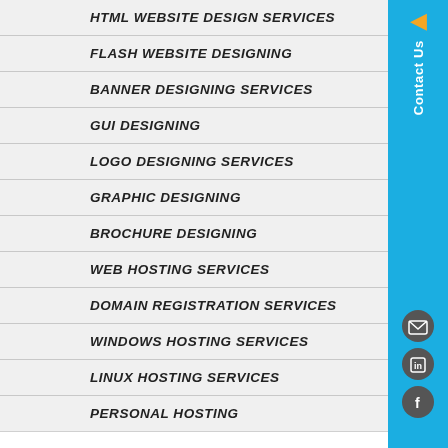HTML WEBSITE DESIGN SERVICES
FLASH WEBSITE DESIGNING
BANNER DESIGNING SERVICES
GUI DESIGNING
LOGO DESIGNING SERVICES
GRAPHIC DESIGNING
BROCHURE DESIGNING
WEB HOSTING SERVICES
DOMAIN REGISTRATION SERVICES
WINDOWS HOSTING SERVICES
LINUX HOSTING SERVICES
PERSONAL HOSTING
[Figure (infographic): Blue sidebar with orange arrow, Contact Us vertical text, and social media icons (email, LinkedIn, Facebook)]